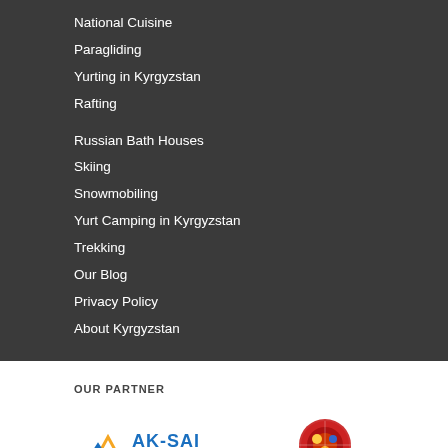National Cuisine
Paragliding
Yurting in Kyrgyzstan
Rafting
Russian Bath Houses
Skiing
Snowmobiling
Yurt Camping in Kyrgyzstan
Trekking
Our Blog
Privacy Policy
About Kyrgyzstan
OUR PARTNER
[Figure (logo): Ak-Sai Travel logo with mountain/wave icon and stylized text]
[Figure (logo): Evi-Tours logo with circular emblem and text below]